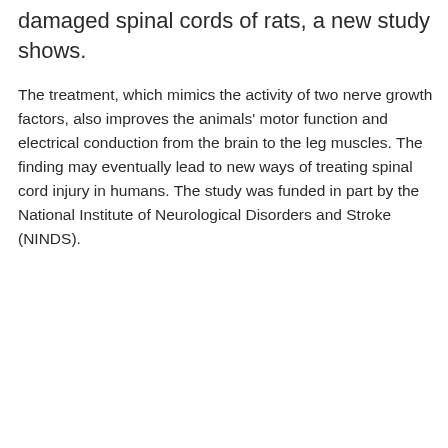damaged spinal cords of rats, a new study shows.
The treatment, which mimics the activity of two nerve growth factors, also improves the animals' motor function and electrical conduction from the brain to the leg muscles. The finding may eventually lead to new ways of treating spinal cord injury in humans. The study was funded in part by the National Institute of Neurological Disorders and Stroke (NINDS).